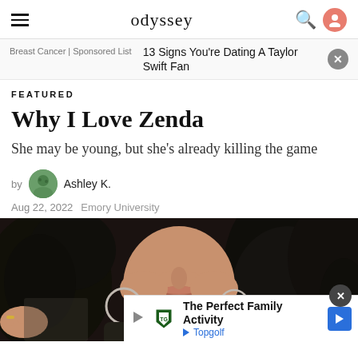odyssey
Breast Cancer | Sponsored List
13 Signs You're Dating A Taylor Swift Fan
FEATURED
Why I Love Zenda
She may be young, but she's already killing the game
by Ashley K.
Aug 22, 2022  Emory University
[Figure (photo): Close-up photo of a young woman with dark curly hair wearing large hoop earrings and a dark top]
The Perfect Family Activity Topgolf